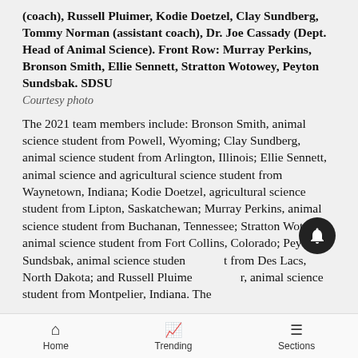(coach), Russell Pluimer, Kodie Doetzel, Clay Sundberg, Tommy Norman (assistant coach), Dr. Joe Cassady (Dept. Head of Animal Science). Front Row: Murray Perkins, Bronson Smith, Ellie Sennett, Stratton Wotowey, Peyton Sundsbak. SDSU Courtesy photo
The 2021 team members include: Bronson Smith, animal science student from Powell, Wyoming; Clay Sundberg, animal science student from Arlington, Illinois; Ellie Sennett, animal science and agricultural science student from Waynetown, Indiana; Kodie Doetzel, agricultural science student from Lipton, Saskatchewan; Murray Perkins, animal science student from Buchanan, Tennessee; Stratton Wotowey, animal science student from Fort Collins, Colorado; Peyton Sundsbak, animal science student from Des Lacs, North Dakota; and Russell Pluimer, animal science student from Montpelier, Indiana. The
Home  Trending  Sections